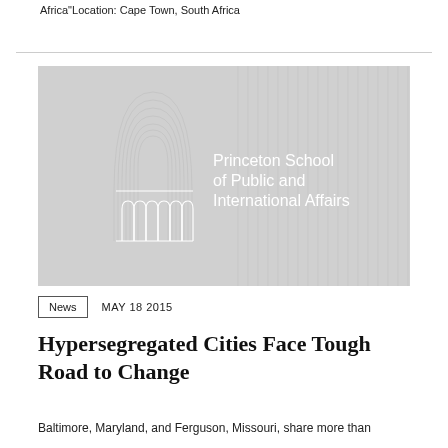Africa"Location: Cape Town, South Africa
[Figure (logo): Princeton School of Public and International Affairs logo on gray background with architectural arch motif]
News   MAY 18 2015
Hypersegregated Cities Face Tough Road to Change
Baltimore, Maryland, and Ferguson, Missouri, share more than